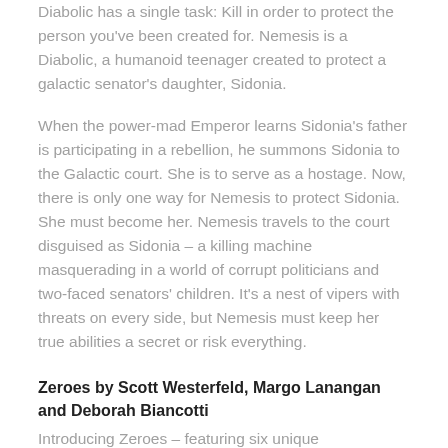Diabolic has a single task: Kill in order to protect the person you've been created for. Nemesis is a Diabolic, a humanoid teenager created to protect a galactic senator's daughter, Sidonia.
When the power-mad Emperor learns Sidonia's father is participating in a rebellion, he summons Sidonia to the Galactic court. She is to serve as a hostage. Now, there is only one way for Nemesis to protect Sidonia. She must become her. Nemesis travels to the court disguised as Sidonia – a killing machine masquerading in a world of corrupt politicians and two-faced senators' children. It's a nest of vipers with threats on every side, but Nemesis must keep her true abilities a secret or risk everything.
Zeroes by Scott Westerfeld, Margo Lanangan and Deborah Biancotti
Introducing Zeroes – featuring six unique superheroes, one bag of stolen drug money, one